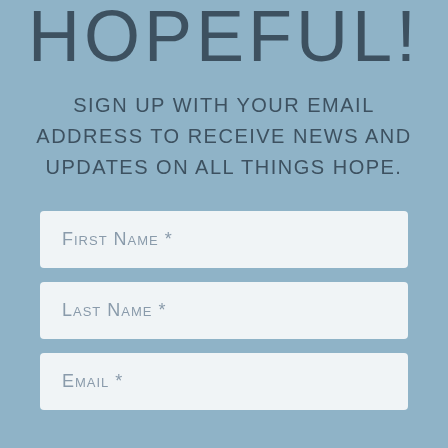HOPEFUL!
Sign up with your email address to receive news and updates on All things Hope.
First Name *
Last Name *
Email *